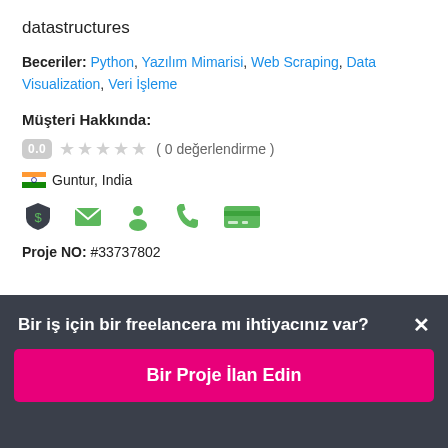datastructures
Beceriler: Python, Yazılım Mimarisi, Web Scraping, Data Visualization, Veri İşleme
Müşteri Hakkında:
0.0 ★★★★★ ( 0 değerlendirme )
🇮🇳 Guntur, India
[Figure (infographic): Row of 5 green icons: shield with dollar, envelope, person, phone, credit card]
Proje NO: #33737802
Bir iş için bir freelancera mı ihtiyacınız var? ×
Bir Proje İlan Edin